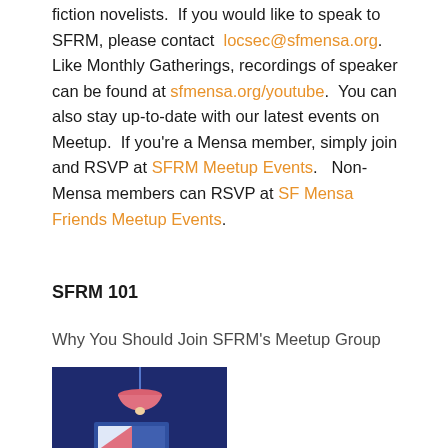fiction novelists.  If you would like to speak to SFRM, please contact locsec@sfmensa.org.  Like Monthly Gatherings, recordings of speaker can be found at sfmensa.org/youtube.  You can also stay up-to-date with our latest events on Meetup.  If you're a Mensa member, simply join and RSVP at SFRM Meetup Events.   Non-Mensa members can RSVP at SF Mensa Friends Meetup Events.
SFRM 101
Why You Should Join SFRM's Meetup Group
[Figure (illustration): Dark navy blue background with a pink pendant lamp hanging from the top and a pink and blue rectangular sign/poster below it]